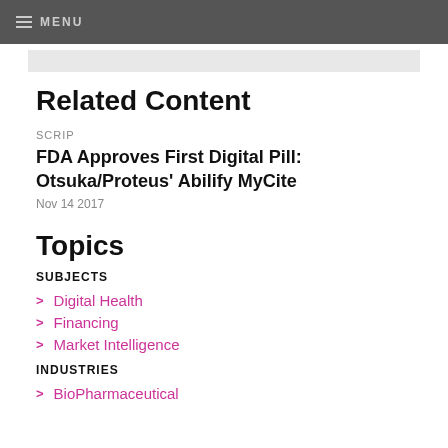MENU
Related Content
SCRIP
FDA Approves First Digital Pill: Otsuka/Proteus' Abilify MyCite
Nov 14 2017
Topics
SUBJECTS
Digital Health
Financing
Market Intelligence
INDUSTRIES
BioPharmaceutical